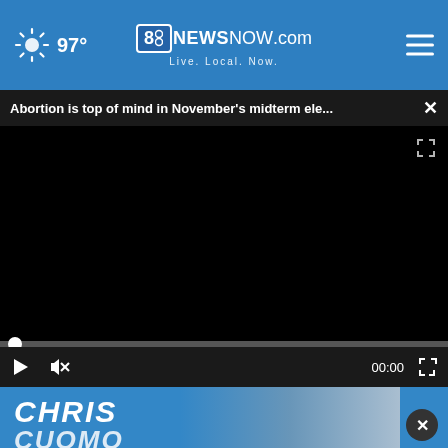97° | 8NewsNow.com Live. Local. Now.
Abortion is top of mind in November's midterm ele... ×
[Figure (screenshot): Black video player area (video not loaded)]
[Figure (screenshot): Video player controls: play button, mute button, time 00:00, fullscreen button]
[Figure (screenshot): Chris Cuomo promotional banner with blue background and person's face]
[Figure (screenshot): Advertisement banner: ultimatetruckingjobs.com - Hiring CDL-A Drivers - Open button]